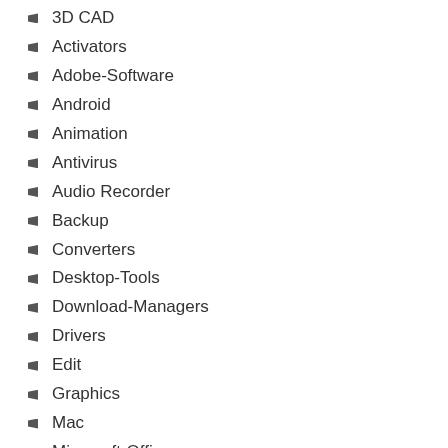3D CAD
Activators
Adobe-Software
Android
Animation
Antivirus
Audio Recorder
Backup
Converters
Desktop-Tools
Download-Managers
Drivers
Edit
Graphics
Mac
Microsoft-Office
Mobile